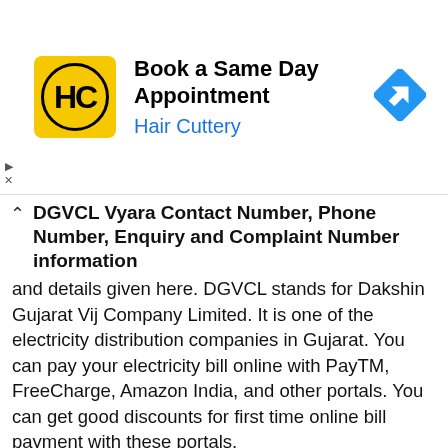[Figure (infographic): Hair Cuttery advertisement banner with yellow HC logo, text 'Book a Same Day Appointment' and 'Hair Cuttery', and a blue navigation arrow icon on the right.]
DGVCL Vyara Contact Number, Phone Number, Enquiry and Complaint Number information
and details given here. DGVCL stands for Dakshin Gujarat Vij Company Limited. It is one of the electricity distribution companies in Gujarat. You can pay your electricity bill online with PayTM, FreeCharge, Amazon India, and other portals. You can get good discounts for first time online bill payment with these portals.
In this article, we have provided and offered contact information of DGVCL office including phone number and enquiry number.